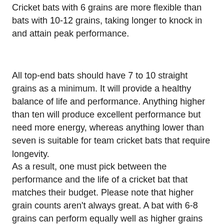Cricket bats with 6 grains are more flexible than bats with 10-12 grains, taking longer to knock in and attain peak performance.
All top-end bats should have 7 to 10 straight grains as a minimum. It will provide a healthy balance of life and performance. Anything higher than ten will produce excellent performance but need more energy, whereas anything lower than seven is suitable for team cricket bats that require longevity.
As a result, one must pick between the performance and the life of a cricket bat that matches their budget. Please note that higher grain counts aren't always great. A bat with 6-8 grains can perform equally well as higher grains one and can have longer life as well.